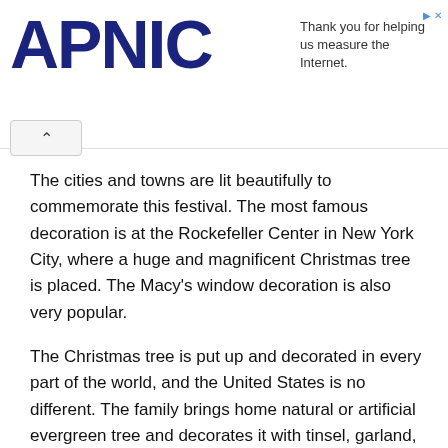[Figure (logo): APNIC logo in dark navy blue bold text]
Thank you for helping us measure the Internet.
The cities and towns are lit beautifully to commemorate this festival. The most famous decoration is at the Rockefeller Center in New York City, where a huge and magnificent Christmas tree is placed. The Macy’s window decoration is also very popular.
The Christmas tree is put up and decorated in every part of the world, and the United States is no different. The family brings home natural or artificial evergreen tree and decorates it with tinsel, garland, baubles, lights or anything that suits their taste. In the olden times, Americans would use popcorn garlands to decorate their Christmas tree. Even today, we see some people decorating their trees with popcorn. Some families also hold a Christmas tree decorating party by gathering friends and family. They usually ask each guest to bring a unique ornament to decorate the tree and have fun with lights and music while trimming the tree. Legends say that Martin Luther